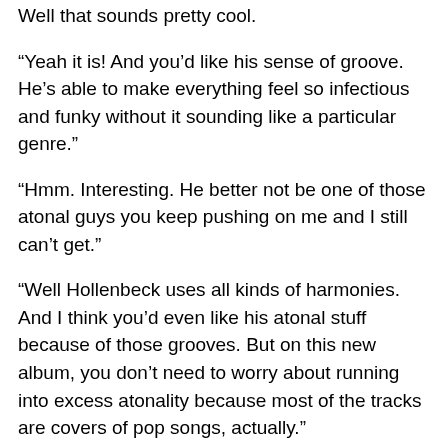Well that sounds pretty cool.
“Yeah it is! And you’d like his sense of groove. He’s able to make everything feel so infectious and funky without it sounding like a particular genre.”
“Hmm. Interesting. He better not be one of those atonal guys you keep pushing on me and I still can’t get.”
“Well Hollenbeck uses all kinds of harmonies. And I think you’d even like his atonal stuff because of those grooves. But on this new album, you don’t need to worry about running into excess atonality because most of the tracks are covers of pop songs, actually.”
“Oh not another one of those jazz guys trying to be cool by covering Radiohead or Sufjan Stevens.”
“Well I can’t say the songs he picked are really associated